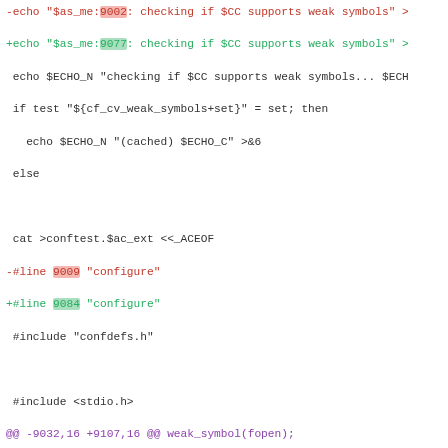[Figure (screenshot): Diff/patch view of a shell configure script showing line number changes from 9002/9009/9035/9038/9041/9044 to 9077/9084/9110/9113/9116/9119, with deleted lines in red and inserted lines in green, context lines in black, and a hunk header in purple.]